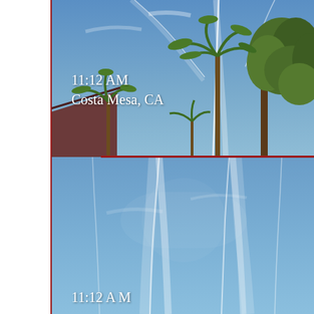[Figure (photo): Blue sky with white contrails/chemtrails crossing, palm tree and eucalyptus tree visible, rooftop at lower left. Text overlay reads '11:12 AM / Costa Mesa, CA']
[Figure (photo): Blue sky with white contrails/chemtrails spreading and dispersing. Text overlay begins '11:12 A M' at bottom.]